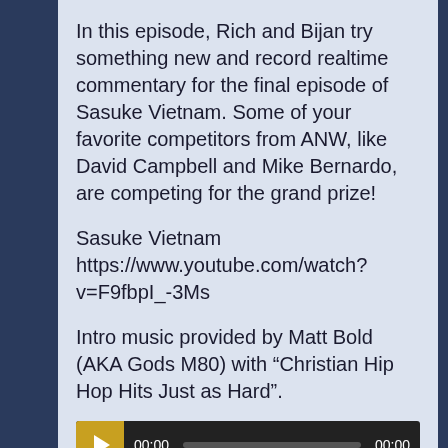In this episode, Rich and Bijan try something new and record realtime commentary for the final episode of Sasuke Vietnam. Some of your favorite competitors from ANW, like David Campbell and Mike Bernardo, are competing for the grand prize!
Sasuke Vietnam
https://www.youtube.com/watch?v=F9fbpI_-3Ms
Intro music provided by Matt Bold (AKA Gods M80) with “Christian Hip Hop Hits Just as Hard”.
[Figure (screenshot): Audio player widget with play button, progress bar showing 00:00, and end time 00:00]
Podcast: Play in new window | Download